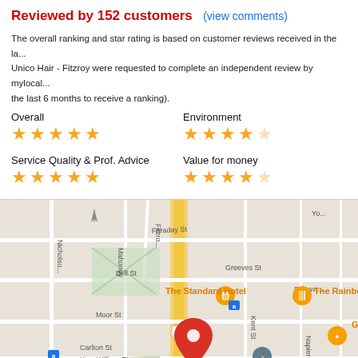Reviewed by 152 customers  (view comments)
The overall ranking and star rating is based on customer reviews received in the la... Unico Hair - Fitzroy were requested to complete an independent review by mylocal... the last 6 months to receive a ranking).
Overall — 5 stars
Environment — 4 stars
Service Quality & Prof. Advice — 5 stars
Value for money — 4 stars
[Figure (map): Google Maps view centered on Fitzroy, Melbourne, Australia showing streets including Nicholson St, Fitzroy, Bell St, Moor St, King William St, Hanover St, Faraday St, Carlton St. Shows The Standard Hotel marker, The Rainbow marker, Fitzroy Town Hall, Gelato marker, and a red location pin near the center. Road 45 visible.]